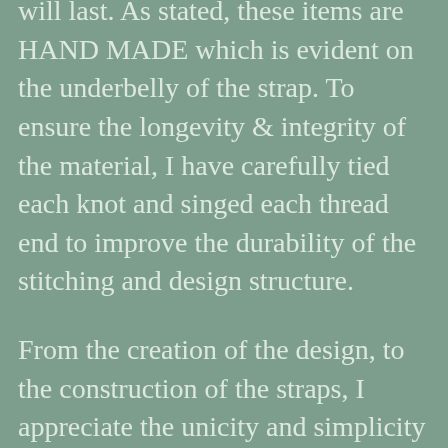will last. As stated, these items are HAND MADE which is evident on the underbelly of the strap. To ensure the longevity & integrity of the material, I have carefully tied each knot and singed each thread end to improve the durability of the stitching and design structure.
From the creation of the design, to the construction of the straps, I appreciate the unicity and simplicity of each pair.
Thanks to my wonderful and talented partner, I have been granted access to his excess leather scraps and materials that he couldn't possibly repurpose in a lifetime. Therefore, with your purchase of these beautiful straps, you are using